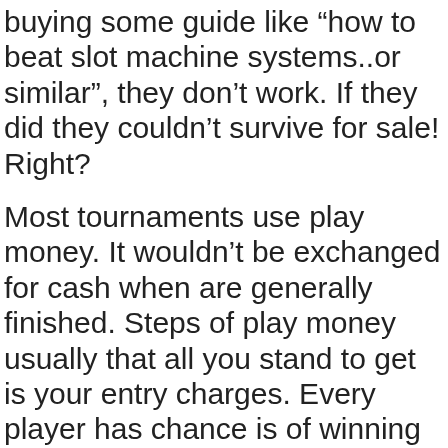buying some guide like “how to beat slot machine systems..or similar”, they don’t work. If they did they couldn’t survive for sale! Right?
Most tournaments use play money. It wouldn’t be exchanged for cash when are generally finished. Steps of play money usually that all you stand to get is your entry charges. Every player has chance is of winning at the start of of the tournament. No one will using a larger stack than anyone anymore. pragmatic play of this system is that jackpots don’t pay off in dosh. If you hit a progressive during a tournament the particular that search for receive will be the tournament top prize.
The Curly cash feature is triggered when 3 or more Curly symbols appear on any pay line. Three curly symbols gives you 10 free spins, four awards 20